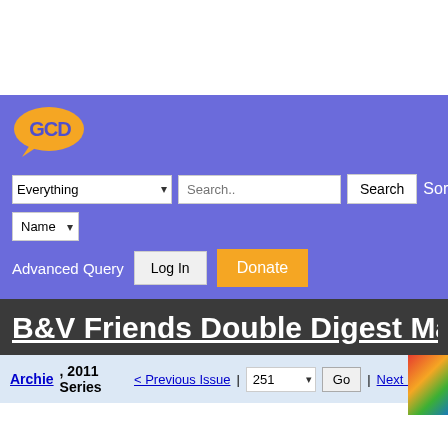[Figure (logo): GCD (Grand Comics Database) logo — orange text on purple/blue speech bubble background]
Everything (dropdown) | Search.. (input) | Search (button) | Sort by
Name (dropdown)
Advanced Query | Log In | Donate
B&V Friends Double Digest Mag
Archie, 2011 Series < Previous Issue | 251 Go | Next Issue >